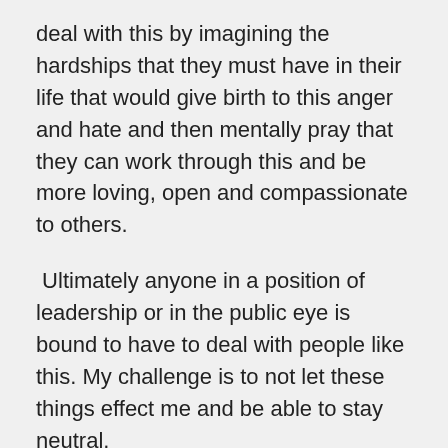deal with this by imagining the hardships that they must have in their life that would give birth to this anger and hate and then mentally pray that they can work through this and be more loving, open and compassionate to others.
Ultimately anyone in a position of leadership or in the public eye is bound to have to deal with people like this. My challenge is to not let these things effect me and be able to stay neutral.
The below email was sent to me as a response to the email about the "Sikh Stories for Children Project". I guess the person must have been holding this anger for a while and my email and name just opened the door for them to share their poo-poo. (ps. I have no idea who this person is and have never interacted with him. Waheguru! May Guruji bless everyone to be compassionate to each other!)